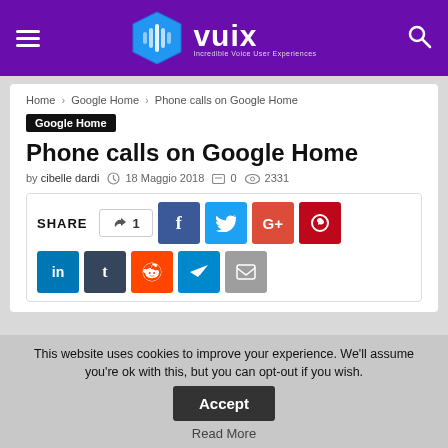vuix — Incredible Voice User Experiences
Home > Google Home > Phone calls on Google Home
Google Home
Phone calls on Google Home
by cibelle dardi  18 Maggio 2018  0  2331
[Figure (screenshot): Share buttons row: like (1), Facebook, Twitter, Google+, Pinterest; second row: LinkedIn, Tumblr, Reddit, Telegram, Email]
[Figure (photo): Blurred blue and white background photo, partial article image]
This website uses cookies to improve your experience. We'll assume you're ok with this, but you can opt-out if you wish.  Accept  Read More